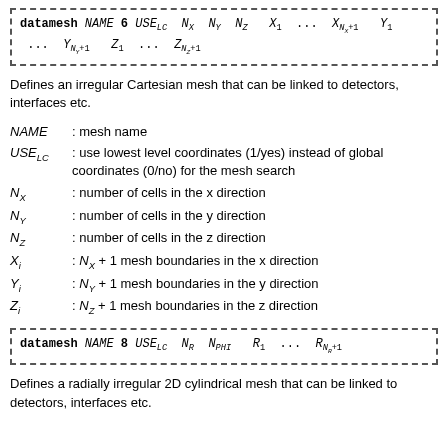datamesh NAME 6 USE_LC N_X N_Y N_Z X_1 ... X_{N_X+1} Y_1 ... Y_{N_Y+1} Z_1 ... Z_{N_Z+1}
Defines an irregular Cartesian mesh that can be linked to detectors, interfaces etc.
NAME : mesh name
USE_LC : use lowest level coordinates (1/yes) instead of global coordinates (0/no) for the mesh search
N_X : number of cells in the x direction
N_Y : number of cells in the y direction
N_Z : number of cells in the z direction
X_i : N_X + 1 mesh boundaries in the x direction
Y_i : N_Y + 1 mesh boundaries in the y direction
Z_i : N_Z + 1 mesh boundaries in the z direction
datamesh NAME 8 USE_LC N_R N_PHI R_1 ... R_{N_R+1}
Defines a radially irregular 2D cylindrical mesh that can be linked to detectors, interfaces etc.